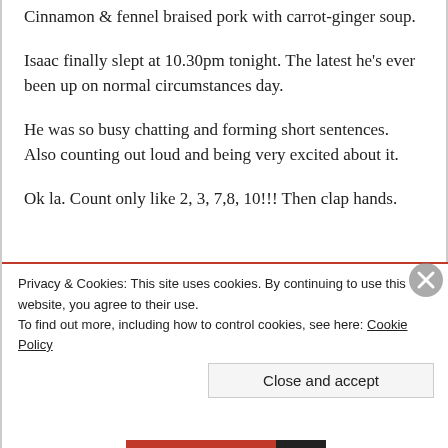Cinnamon & fennel braised pork with carrot-ginger soup.
Isaac finally slept at 10.30pm tonight. The latest he's ever been up on normal circumstances day.
He was so busy chatting and forming short sentences. Also counting out loud and being very excited about it.
Ok la. Count only like 2, 3, 7,8, 10!!! Then clap hands.
Privacy & Cookies: This site uses cookies. By continuing to use this website, you agree to their use.
To find out more, including how to control cookies, see here: Cookie Policy
Close and accept